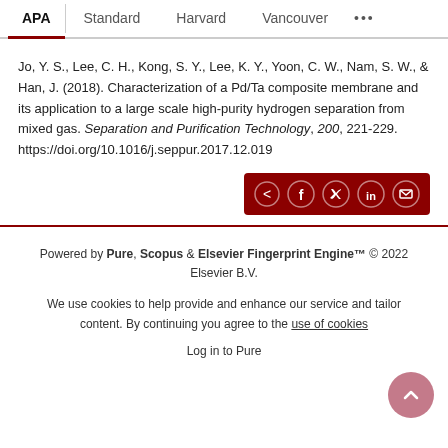APA  Standard  Harvard  Vancouver  ...
Jo, Y. S., Lee, C. H., Kong, S. Y., Lee, K. Y., Yoon, C. W., Nam, S. W., & Han, J. (2018). Characterization of a Pd/Ta composite membrane and its application to a large scale high-purity hydrogen separation from mixed gas. Separation and Purification Technology, 200, 221-229. https://doi.org/10.1016/j.seppur.2017.12.019
[Figure (other): Share button bar with social media icons (share, Facebook, Twitter, LinkedIn, email) on dark red background]
Powered by Pure, Scopus & Elsevier Fingerprint Engine™ © 2022 Elsevier B.V.
We use cookies to help provide and enhance our service and tailor content. By continuing you agree to the use of cookies
Log in to Pure